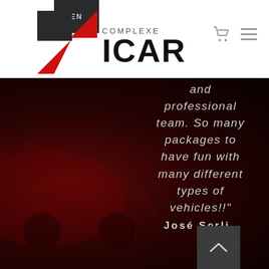EN COMPLEXE ICAR
and professional team. So many packages to have fun with many different types of vehicles!!"
José Serli